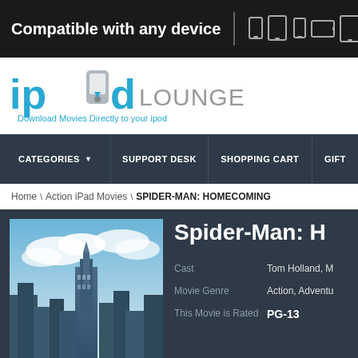Compatible with any device
[Figure (logo): iPod Lounge logo - Download Movies Directly to your ipod]
CATEGORIES  SUPPORT DESK  SHOPPING CART  GIFT
Home \ Action iPad Movies \ SPIDER-MAN: HOMECOMING
Spider-Man: H
[Figure (photo): Spider-Man Homecoming movie poster showing New York City skyline with skyscrapers and clouds]
Cast: Tom Holland, M
Movie Genre: Action, Adventu
This Movie is Rated: PG-13